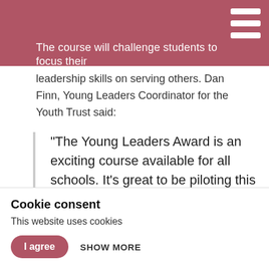The course will challenge students to focus their
leadership skills on serving others. Dan Finn, Young Leaders Coordinator for the Youth Trust said:
“The Young Leaders Award is an exciting course available for all schools. It’s great to be piloting this with Manor, and to be
Cookie consent
This website uses cookies
I agree   SHOW MORE